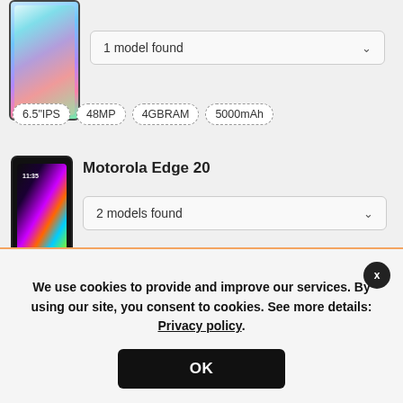[Figure (screenshot): Smartphone product image with colorful gradient screen]
1 model found
6.5"IPS
48MP
4GBRAM
5000mAh
[Figure (screenshot): Motorola Edge 20 smartphone image with colorful display showing 11:35]
Motorola Edge 20
2 models found
We use cookies to provide and improve our services. By using our site, you consent to cookies. See more details: Privacy policy.
OK